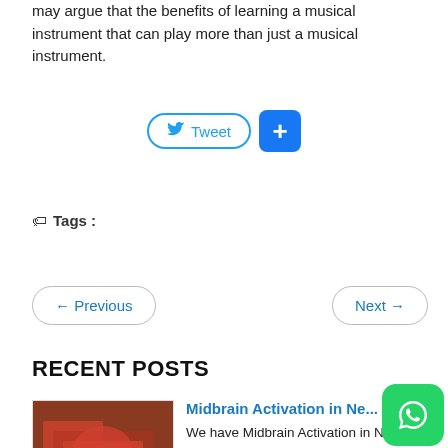may argue that the benefits of learning a musical instrument that can play more than just a musical instrument.
[Figure (other): Social sharing buttons: Tweet button and blue plus button]
🏷 Tags :
← Previous    Next →
RECENT POSTS
[Figure (photo): Thumbnail photo of a child in red clothing writing, associated with Midbrain Activation in New Zealand post]
Midbrain Activation in Ne...
We have Midbrain Activation in NEW ZEALAND White Label Franchise Opportunity. We will...
[Figure (photo): Thumbnail photo of people outdoors, associated with Midbrain Activation in Singapore post]
Midbrain Activation in Si...
We have Midbrain Activation in SINGAPORE White Label Franchise Opportunity. We will p...
[Figure (other): WhatsApp floating button (green rounded square with phone icon)]